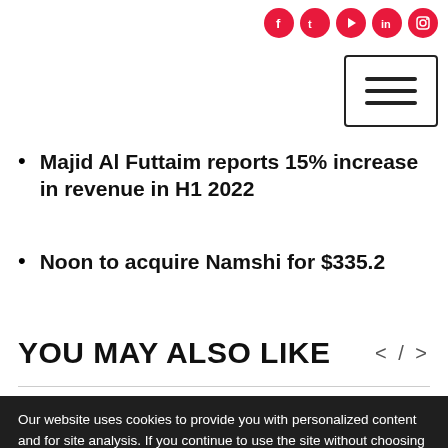Social media icons and navigation menu
Majid Al Futtaim reports 15% increase in revenue in H1 2022
Noon to acquire Namshi for $335.2
YOU MAY ALSO LIKE
Our website uses cookies to provide you with personalized content and for site analysis. If you continue to use the site without choosing your preference, we'll assume that you're fine with cookies.